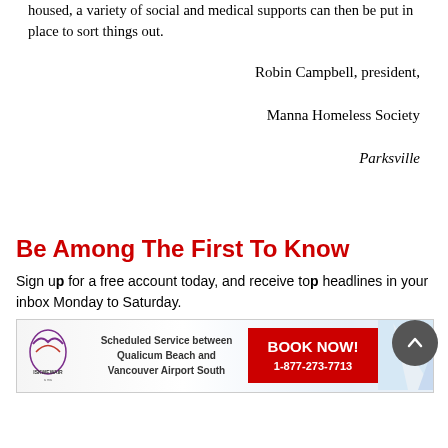housed, a variety of social and medical supports can then be put in place to sort things out.
Robin Campbell, president,
Manna Homeless Society
Parksville
Be Among The First To Know
Sign up for a free account today, and receive top headlines in your inbox Monday to Saturday.
[Figure (advertisement): Iskwew Air banner ad: Scheduled Service between Qualicum Beach and Vancouver Airport South. BOOK NOW! 1-877-273-7713]